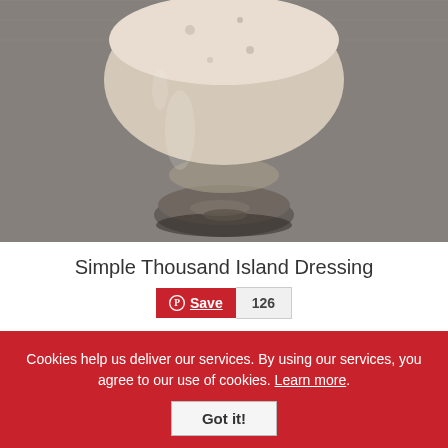[Figure (photo): Close-up photo of a glass serving vessel filled with creamy Thousand Island dressing, placed on a gray textured surface.]
Simple Thousand Island Dressing
[Figure (other): Pinterest Save button with count 126]
BUTTERMILK SALAD DRESSING RECIPE
Cookies help us deliver our services. By using our services, you agree to our use of cookies. Learn more.
Got it!